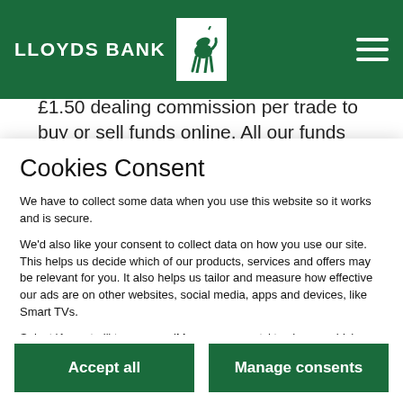LLOYDS BANK
£1.50 dealing commission per trade to buy or sell funds online. All our funds have 0% initial charge (for our in-house range, excluding the fund...
Cookies Consent
We have to collect some data when you use this website so it works and is secure.
We'd also like your consent to collect data on how you use our site. This helps us decide which of our products, services and offers may be relevant for you. It also helps us tailor and measure how effective our ads are on other websites, social media, apps and devices, like Smart TVs.
Select 'Accept all' to agree or 'Manage consents' to choose which cookies we use. You can change your mind, or find out more, by visiting our Cookies Policy
Accept all
Manage consents